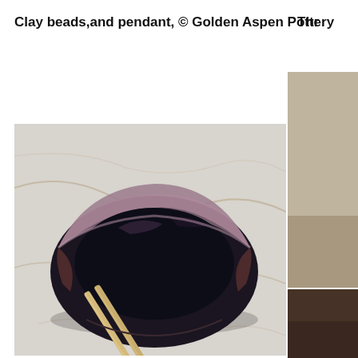Clay beads,and pendant, © Golden Aspen Pottery
Thr
[Figure (photo): A dark glazed ceramic bowl with chopsticks resting across it, photographed on a marble surface. The bowl has a deep navy/black glaze with mauve/pink tones on the upper rim.]
[Figure (photo): Partial view of another ceramic piece or color swatch with taupe/brown tones visible on the right side of the page.]
[Figure (photo): Partial view of a dark brown/chocolate colored ceramic piece at the bottom right of the page.]